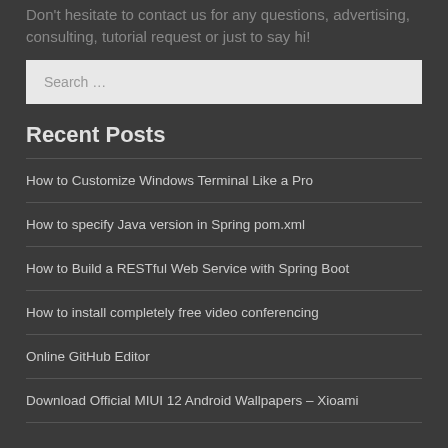Don't hesitate to contact us for any questions, advertising, consulting, tutorial request or just to say hi!
Search …
Recent Posts
How to Customize Windows Terminal Like a Pro
How to specify Java version in Spring pom.xml
How to Build a RESTful Web Service with Spring Boot
How to install completely free video conferencing
Online GitHub Editor
Download Official MIUI 12 Android Wallpapers – Xioami